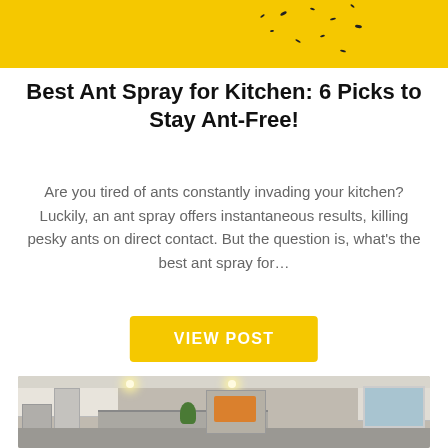[Figure (photo): Yellow background with small black ants/dots scattered — top portion of an ant spray article header image]
Best Ant Spray for Kitchen: 6 Picks to Stay Ant-Free!
Are you tired of ants constantly invading your kitchen? Luckily, an ant spray offers instantaneous results, killing pesky ants on direct contact. But the question is, what's the best ant spray for…
VIEW POST
[Figure (photo): Interior photo of a modern kitchen with white cabinets, stainless steel appliances, recessed lighting, a kitchen island, and a fireplace in the background]